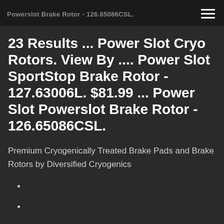Powerslot Brake Rotor - 126.65086CSL.
23 Results ... Power Slot Cryo Rotors. View By .... Power Slot SportStop Brake Rotor - 127.63006L. $81.99 ... Power Slot Powerslot Brake Rotor - 126.65086CSL.
Premium Cryogenically Treated Brake Pads and Brake Rotors by Diversified Cryogenics